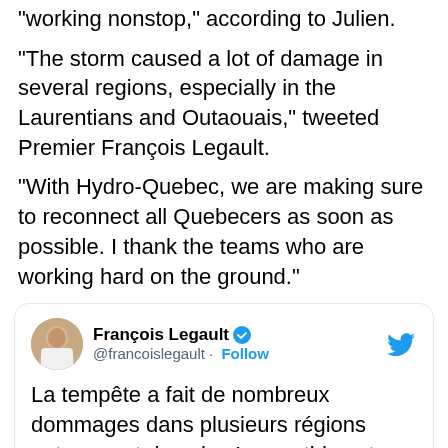"working nonstop," according to Julien.
"The storm caused a lot of damage in several regions, especially in the Laurentians and Outaouais," tweeted Premier François Legault.
"With Hydro-Quebec, we are making sure to reconnect all Quebecers as soon as possible. I thank the teams who are working hard on the ground."
[Figure (screenshot): Embedded tweet from François Legault (@francoislegault) with verified badge and Follow button. Tweet text begins: 'La tempête a fait de nombreux dommages dans plusieurs régions notamment dans les Laurentides et en Outaouais. Avec @hydroquebec on']